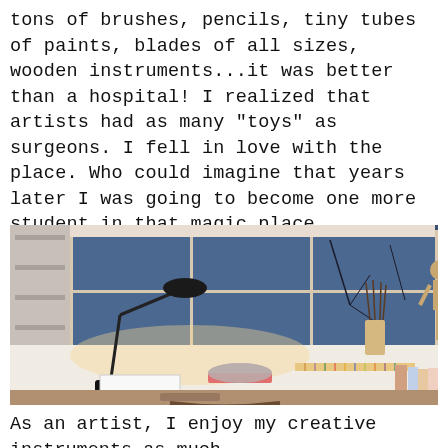tons of brushes, pencils, tiny tubes of paints, blades of all sizes, wooden instruments...it was better than a hospital! I realized that artists had as many "toys" as surgeons. I fell in love with the place. Who could imagine that years later I was going to become one more student in that magic place.
[Figure (photo): An artist's desk/studio workspace photographed at dusk or evening. A drafting table with a black adjustable arm lamp illuminating the surface. On the desk: a metal bowl on a pink/red placemat, a paper/notebook, colored pencils or art supplies arranged in a row, and books or folders. Behind the desk is a large window showing a blue twilight exterior with bare tree branches. To the left is a white shelving unit. A wooden artist's mannequin figure stands near the window. A cup/jar holding brushes is on the desk near the window.]
As an artist, I enjoy my creative instruments as much